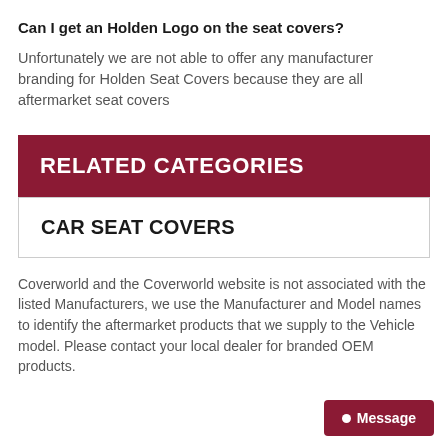Can I get an Holden Logo on the seat covers?
Unfortunately we are not able to offer any manufacturer branding for Holden Seat Covers because they are all aftermarket seat covers
RELATED CATEGORIES
CAR SEAT COVERS
Coverworld and the Coverworld website is not associated with the listed Manufacturers, we use the Manufacturer and Model names to identify the aftermarket products that we supply to the Vehicle model. Please contact your local dealer for branded OEM products.
Message